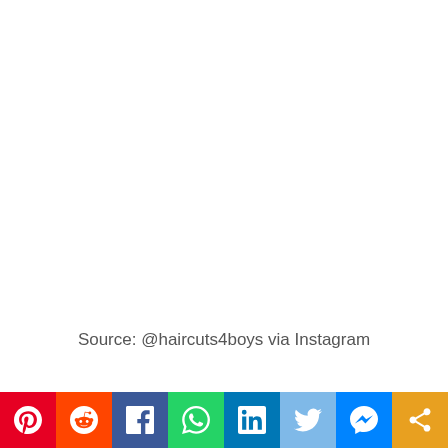Source: @haircuts4boys via Instagram
Shave using gentle, circular motions
[Figure (infographic): Social media sharing bar with icons for Pinterest, Reddit, Facebook, WhatsApp, LinkedIn, Twitter, Messenger, and a generic share button]